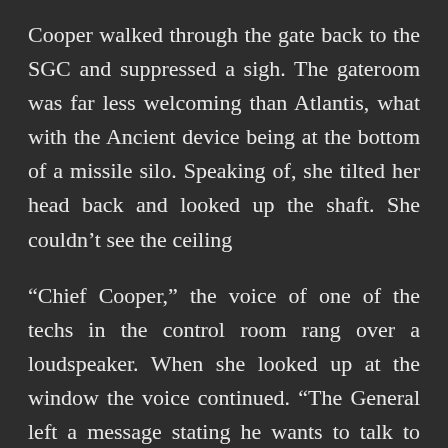Cooper walked through the gate back to the SGC and suppressed a sigh. The gateroom was far less welcoming than Atlantis, what with the Ancient device being at the bottom of a missile silo. Speaking of, she tilted her head back and looked up the shaft. She couldn't see the ceiling
“Chief Cooper,” the voice of one of the techs in the control room rang over a loudspeaker. When she looked up at the window the voice continued. “The General left a message stating he wants to talk to you when you complete